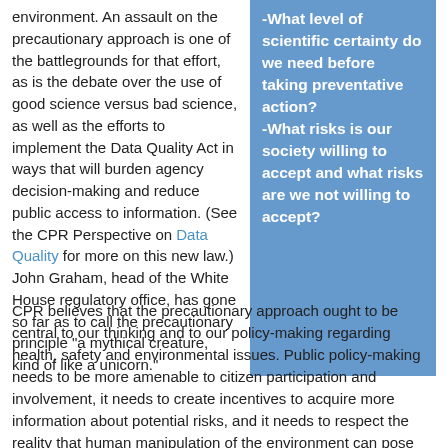environment. An assault on the precautionary approach is one of the battlegrounds for that effort, as is the debate over the use of good science versus bad science, as well as the efforts to implement the Data Quality Act in ways that will burden agency decision-making and reduce public access to information. (See the CPR Perspective on Data Quality for more on this new law.) John Graham, head of the White House regulatory office, has gone so far as to call the precautionary principle "a mythical creature, kind of like a unicorn."
-What level of scientific certainty do we need before taking preventative action? -What risks is our society willing to accept and what risks are we not willing to accept?
CPR believes that the precautionary approach ought to be central to our thinking and to our policy-making regarding health, safety and environmental issues. Public policy-making needs to be more amenable to citizen participation and involvement, it needs to create incentives to acquire more information about potential risks, and it needs to respect the reality that human manipulation of the environment can pose substantial threats to the biosphere and to future generations.